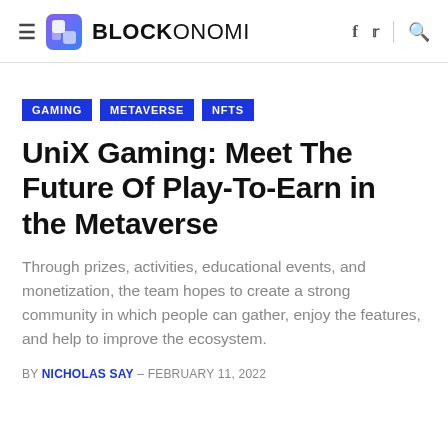BLOCKONOMI
GAMING
METAVERSE
NFTS
UniX Gaming: Meet The Future Of Play-To-Earn in the Metaverse
Through prizes, activities, educational events, and monetization, the team hopes to create a strong community in which people can gather, enjoy the features, and help to improve the ecosystem.
BY NICHOLAS SAY - FEBRUARY 11, 2022